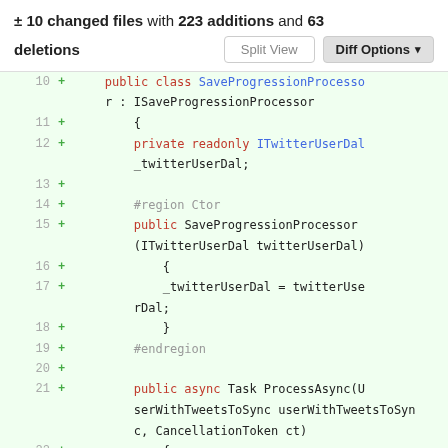± 10 changed files with 223 additions and 63 deletions
Split View | Diff Options
[Figure (screenshot): Code diff view showing lines 10-22 of a C# file with added lines highlighted in green. The code shows a SaveProgressionProcessor class implementing ISaveProgressionProcessor with a private readonly ITwitterUserDal field, a constructor, and the beginning of a ProcessAsync method.]